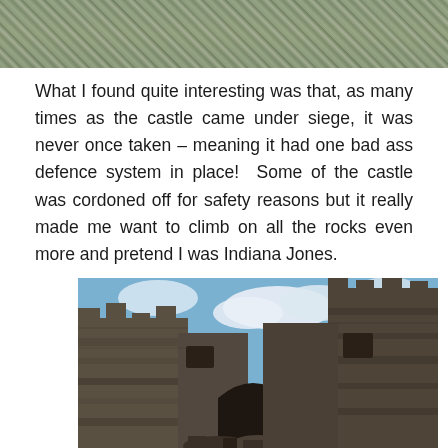[Figure (photo): Top portion of a photo showing rocky ground with some green foliage/leaves, cropped at the top of the page.]
What I found quite interesting was that, as many times as the castle came under siege, it was never once taken – meaning it had one bad ass defence system in place!  Some of the castle was cordoned off for safety reasons but it really made me want to climb on all the rocks even more and pretend I was Indiana Jones.
[Figure (photo): Photo taken from below looking up at the ruined stone walls of a castle. The dark grey-brown stone walls have window openings and arched doorways. A blue sky with white clouds is visible above.]